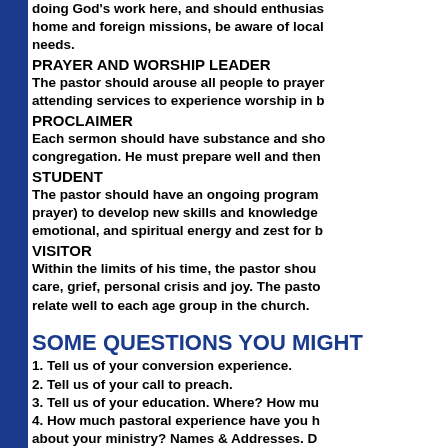doing God's work here, and should enthusiastically support home and foreign missions, be aware of local needs.
PRAYER AND WORSHIP LEADER
The pastor should arouse all people to prayer, and those attending services to experience worship in b
PROCLAIMER
Each sermon should have substance and should relate to the congregation. He must prepare well and then
STUDENT
The pastor should have an ongoing program (study, reading, prayer) to develop new skills and knowledge emotional, and spiritual energy and zest for b
VISITOR
Within the limits of his time, the pastor should care, grief, personal crisis and joy. The pastor should relate well to each age group in the church.
SOME QUESTIONS YOU MIGHT
1. Tell us of your conversion experience.
2. Tell us of your call to preach.
3. Tell us of your education. Where? How mu
4. How much pastoral experience have you h about your ministry? Names & Addresses. D